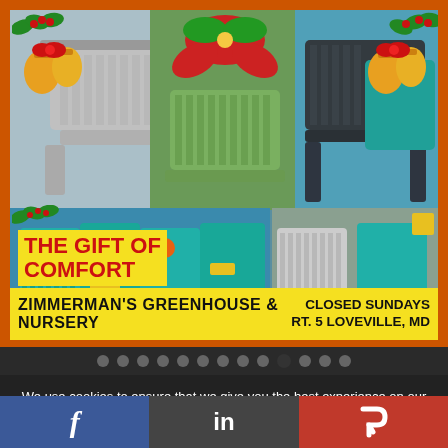[Figure (photo): Advertisement for Zimmerman's Greenhouse & Nursery showing a collage of colorful Adirondack chairs in various colors (teal, grey, dark grey, green, blue). Christmas bells and holly decorations appear in corners. A red poinsettia decorates the top center. Text overlay reads 'THE GIFT OF COMFORT' in red on yellow background. Bottom yellow band reads 'ZIMMERMAN'S GREENHOUSE & NURSERY' and 'CLOSED SUNDAYS RT. 5 LOVEVILLE, MD'.]
We use cookies to ensure that we give you the best experience on our website. If you continue to use this site we will assume that you are happy with it. This website is not intended for those who live in the European Economic Area.
[Figure (logo): Social media icons bar: Facebook (f) on blue, LinkedIn (in) on dark grey, Parler (P) on red]